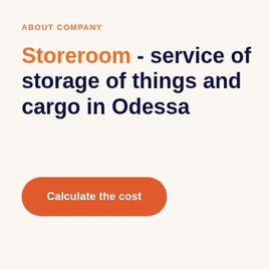ABOUT COMPANY
Storeroom - service of storage of things and cargo in Odessa
Calculate the cost